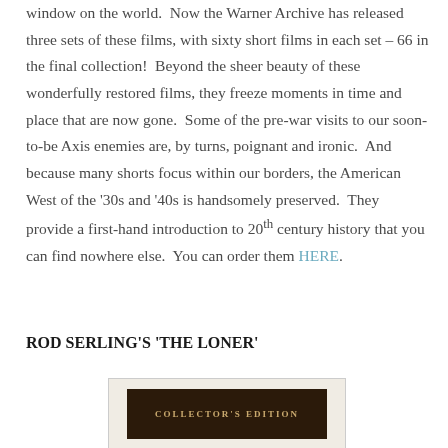window on the world.  Now the Warner Archive has released three sets of these films, with sixty short films in each set – 66 in the final collection!  Beyond the sheer beauty of these wonderfully restored films, they freeze moments in time and place that are now gone.  Some of the pre-war visits to our soon-to-be Axis enemies are, by turns, poignant and ironic.  And because many shorts focus within our borders, the American West of the '30s and '40s is handsomely preserved.  They provide a first-hand introduction to 20th century history that you can find nowhere else.  You can order them HERE.
ROD SERLING'S 'THE LONER'
[Figure (photo): Book/DVD collector's edition cover image showing 'COLLECTOR'S EDITION' text on dark background]